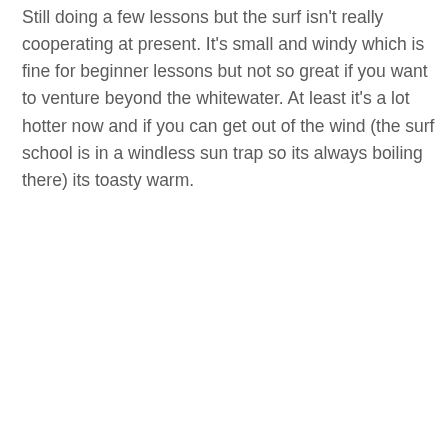Still doing a few lessons but the surf isn't really cooperating at present. It's small and windy which is fine for beginner lessons but not so great if you want to venture beyond the whitewater. At least it's a lot hotter now and if you can get out of the wind (the surf school is in a windless sun trap so its always boiling there) its toasty warm.